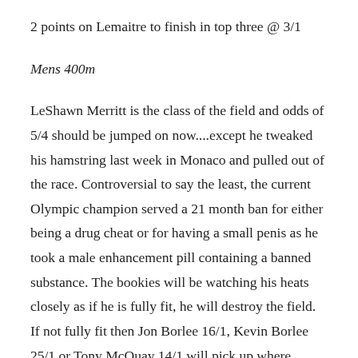2 points on Lemaitre to finish in top three @ 3/1
Mens 400m
LeShawn Merritt is the class of the field and odds of 5/4 should be jumped on now....except he tweaked his hamstring last week in Monaco and pulled out of the race. Controversial to say the least, the current Olympic champion served a 21 month ban for either being a drug cheat or for having a small penis as he took a male enhancement pill containing a banned substance. The bookies will be watching his heats closely as if he is fully fit, he will destroy the field. If not fully fit then Jon Borlee 16/1, Kevin Borlee 25/1 or Tony McQuay 14/1 will pick up where Merritt left off. If it looks like LeShawn has the slightest hint of breaking down, a quick flutter to earn a